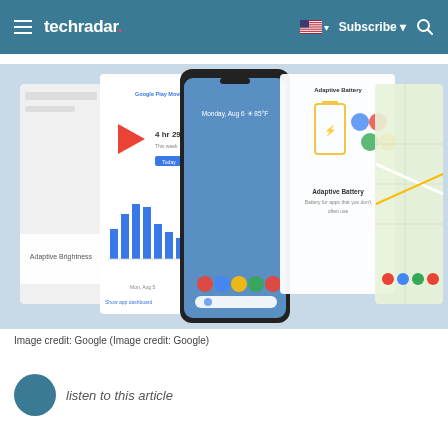techradar · Subscribe
[Figure (screenshot): TechRadar article screenshot showing a Google Pixel 3 phone surrounded by Android 9 Pie feature screens including Adaptive Brightness, Google Play Movies, Adaptive Battery, and Google Maps.]
Image credit: Google (Image credit: Google)
listen to this article